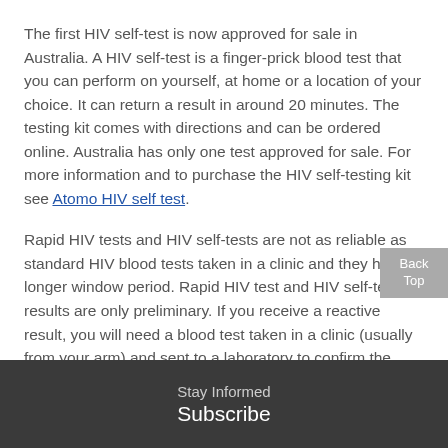The first HIV self-test is now approved for sale in Australia. A HIV self-test is a finger-prick blood test that you can perform on yourself, at home or a location of your choice. It can return a result in around 20 minutes. The testing kit comes with directions and can be ordered online. Australia has only one test approved for sale. For more information and to purchase the HIV self-testing kit see Atomo HIV self test.
Rapid HIV tests and HIV self-tests are not as reliable as standard HIV blood tests taken in a clinic and they have a longer window period. Rapid HIV test and HIV self-test results are only preliminary. If you receive a reactive result, you will need a blood test taken in a clinic (usually from your arm) and sent to a laboratory to confirm the result.
If you are considering self-testing for HIV, see below for where to get more information and support, including confirmation testing, if the test is positive.
Stay Informed Subscribe